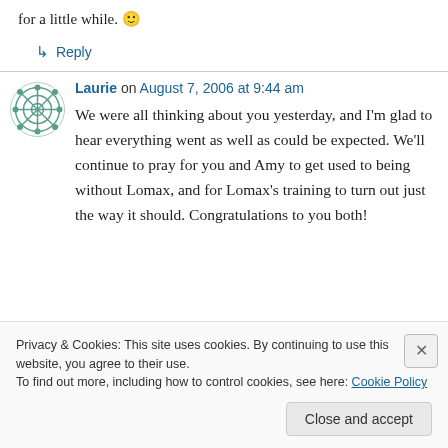for a little while. 🙂
↳ Reply
Laurie on August 7, 2006 at 9:44 am
We were all thinking about you yesterday, and I'm glad to hear everything went as well as could be expected. We'll continue to pray for you and Amy to get used to being without Lomax, and for Lomax's training to turn out just the way it should. Congratulations to you both!
Privacy & Cookies: This site uses cookies. By continuing to use this website, you agree to their use. To find out more, including how to control cookies, see here: Cookie Policy
Close and accept